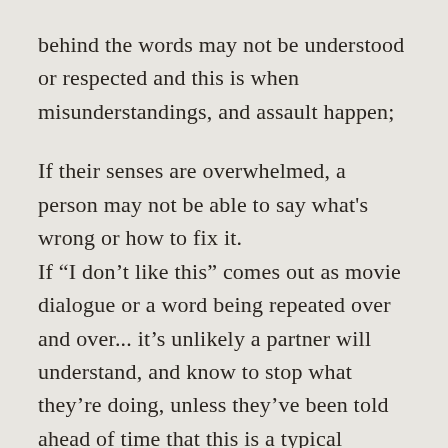behind the words may not be understood or respected and this is when misunderstandings, and assault happen;

If their senses are overwhelmed, a person may not be able to say what's wrong or how to fix it.
If “I don’t like this” comes out as movie dialogue or a word being repeated over and over... it’s unlikely a partner will understand, and know to stop what they’re doing, unless they’ve been told ahead of time that this is a typical response to feeling uncomfortable, anxious, or otherwise needing the sex to